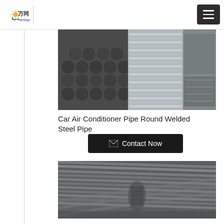[Figure (logo): Vantage (万同) company logo with sun/gear icon]
[Figure (photo): Steel pipes and tubes stacked together, showing round welded steel pipe product]
Car Air Conditioner Pipe Round Welded Steel Pipe
[Figure (other): Contact Now button with envelope icon]
[Figure (photo): Steel rebar rods bundled together]